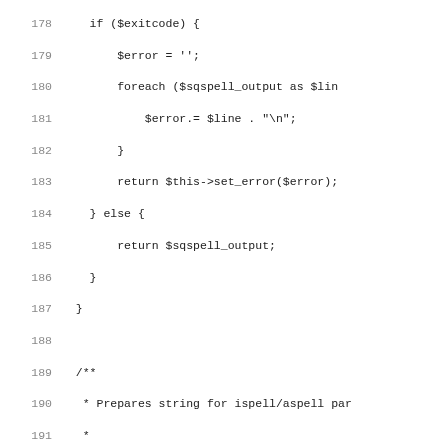[Figure (screenshot): Source code listing in PHP showing lines 178-210, with line numbers on the left and code on the right in monospace font. The code shows conditional logic for error handling and string preparation functions.]